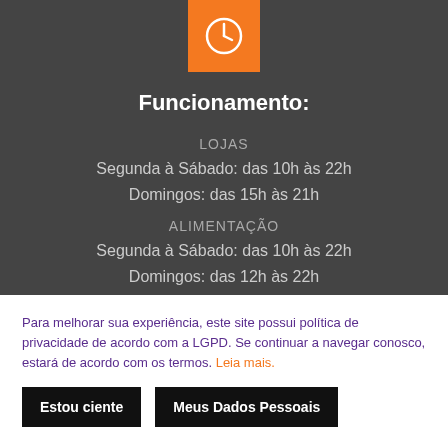[Figure (illustration): Orange square icon with white clock symbol]
Funcionamento:
LOJAS
Segunda à Sábado: das 10h às 22h
Domingos: das 15h às 21h
ALIMENTAÇÃO
Segunda à Sábado: das 10h às 22h
Domingos: das 12h às 22h
Para melhorar sua experiência, este site possui política de privacidade de acordo com a LGPD. Se continuar a navegar conosco, estará de acordo com os termos. Leia mais.
Estou ciente
Meus Dados Pessoais